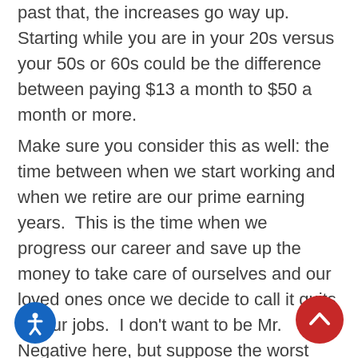past that, the increases go way up. Starting while you are in your 20s versus your 50s or 60s could be the difference between paying $13 a month to $50 a month or more.
Make sure you consider this as well: the time between when we start working and when we retire are our prime earning years.  This is the time when we progress our career and save up the money to take care of ourselves and our loved ones once we decide to call it quits on our jobs.  I don't want to be Mr. Negative here, but suppose the worst happens and you pass away well before you and your family were planning on?  What about all the money you would have been able to earn and save and provide for your family?  While life insurance doesn't take away the pain of loss, it can at least mitigate the financial damage done